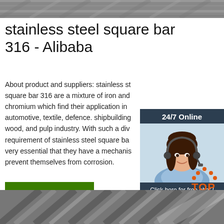[Figure (photo): Top banner image showing stainless steel square bars, metallic gray tones]
stainless steel square bar 316 - Alibaba
About product and suppliers: stainless steel square bar 316 are a mixture of iron and chromium which find their application in automotive, textile, defence. shipbuilding, wood, and pulp industry. With such a diverse requirement of stainless steel square bar it is very essential that they have a mechanism to prevent themselves from corrosion.
[Figure (photo): Chat widget with woman wearing headset, 24/7 online customer support popup with dark background, orange quotation button]
Get Price
[Figure (logo): Orange TOP logo with dotted house/arrow icon]
[Figure (photo): Bottom banner image showing stainless steel square bars at an angle]